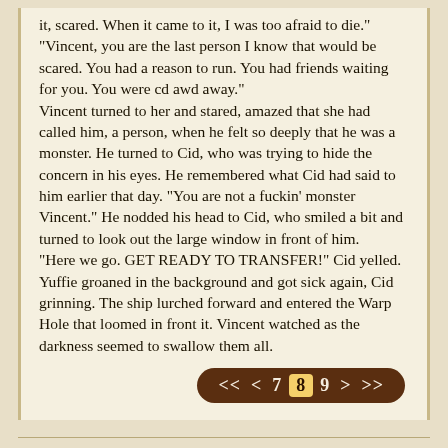it, scared. When it came to it, I was too afraid to die."
"Vincent, you are the last person I know that would be scared. You had a reason to run. You had friends waiting for you. You were cd awd away."
Vincent turned to her and stared, amazed that she had called him, a person, when he felt so deeply that he was a monster. He turned to Cid, who was trying to hide the concern in his eyes. He remembered what Cid had said to him earlier that day. "You are not a fuckin' monster Vincent." He nodded his head to Cid, who smiled a bit and turned to look out the large window in front of him.
"Here we go. GET READY TO TRANSFER!" Cid yelled. Yuffie groaned in the background and got sick again, Cid grinning. The ship lurched forward and entered the Warp Hole that loomed in front it. Vincent watched as the darkness seemed to swallow them all.
<< < 7 8 9 > >>